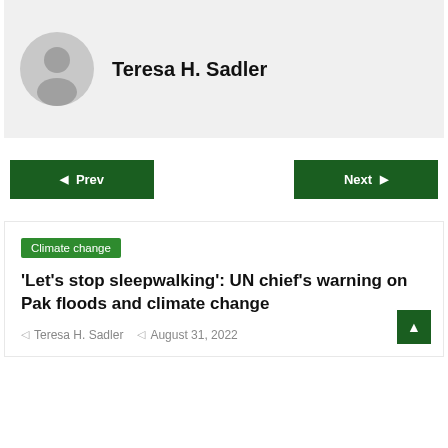[Figure (illustration): Grey circular avatar with a generic person silhouette (default user profile photo)]
Teresa H. Sadler
◀ Prev
Next ▶
Climate change
'Let's stop sleepwalking': UN chief's warning on Pak floods and climate change
Teresa H. Sadler   August 31, 2022